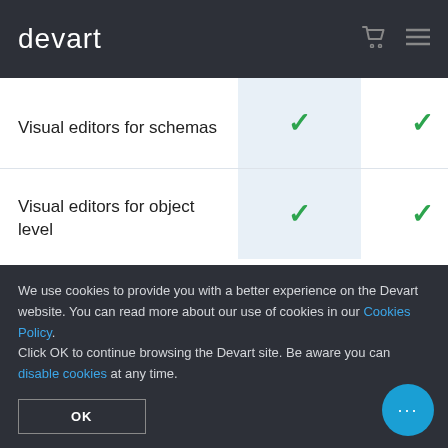devart
| Feature | Col1 | Col2 |
| --- | --- | --- |
| Visual editors for schemas | ✓ | ✓ |
| Visual editors for object level | ✓ | ✓ |
We use cookies to provide you with a better experience on the Devart website. You can read more about our use of cookies in our Cookies Policy. Click OK to continue browsing the Devart site. Be aware you can disable cookies at any time.